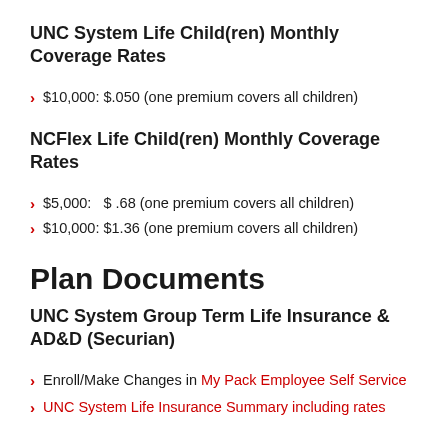UNC System Life Child(ren) Monthly Coverage Rates
$10,000: $.050 (one premium covers all children)
NCFlex Life Child(ren) Monthly Coverage Rates
$5,000:  $ .68 (one premium covers all children)
$10,000: $1.36 (one premium covers all children)
Plan Documents
UNC System Group Term Life Insurance & AD&D (Securian)
Enroll/Make Changes in My Pack Employee Self Service
UNC System Life Insurance Summary including rates